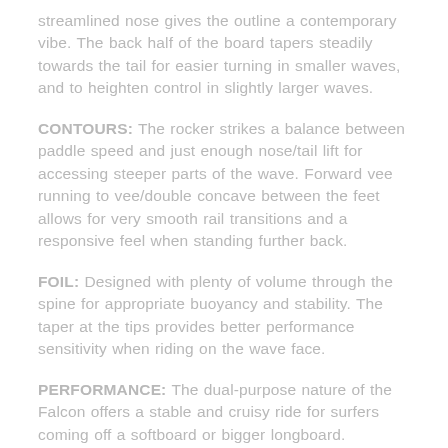streamlined nose gives the outline a contemporary vibe. The back half of the board tapers steadily towards the tail for easier turning in smaller waves, and to heighten control in slightly larger waves.
CONTOURS: The rocker strikes a balance between paddle speed and just enough nose/tail lift for accessing steeper parts of the wave. Forward vee running to vee/double concave between the feet allows for very smooth rail transitions and a responsive feel when standing further back.
FOIL: Designed with plenty of volume through the spine for appropriate buoyancy and stability. The taper at the tips provides better performance sensitivity when riding on the wave face.
PERFORMANCE: The dual-purpose nature of the Falcon offers a stable and cruisy ride for surfers coming off a softboard or bigger longboard.